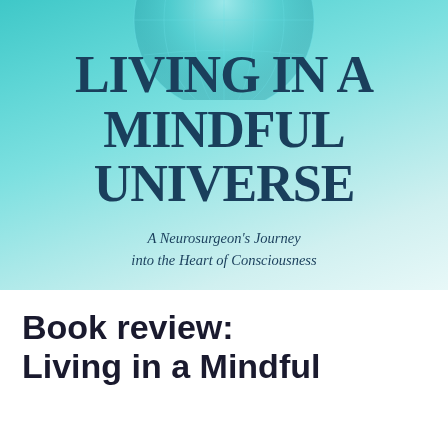[Figure (illustration): Book cover of 'Living in a Mindful Universe' with a teal-to-white gradient background and a globe/sphere graphic at the top. Large dark teal serif uppercase text reads 'LIVING IN A MINDFUL UNIVERSE' with italic subtitle 'A Neurosurgeon's Journey into the Heart of Consciousness'.]
Book review: Living in a Mindful